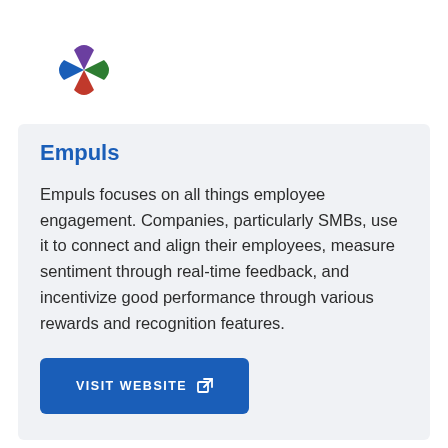[Figure (logo): Empuls logo — a four-pointed star shape with blue, green, red, and purple quadrants on a white background]
Empuls
Empuls focuses on all things employee engagement. Companies, particularly SMBs, use it to connect and align their employees, measure sentiment through real-time feedback, and incentivize good performance through various rewards and recognition features.
VISIT WEBSITE
[Figure (logo): Profit.co logo — a circular target/crosshair icon with a blue filled circle in the center on a white background]
Profit.co